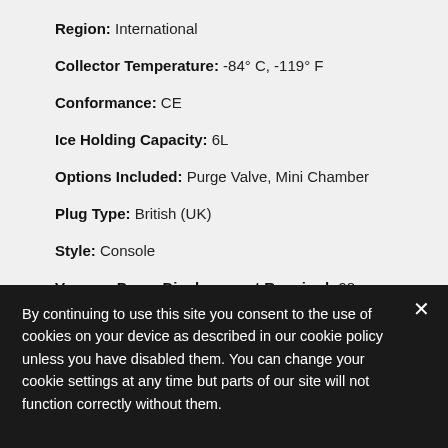Region: International
Collector Temperature: -84° C, -119° F
Conformance: CE
Ice Holding Capacity: 6L
Options Included: Purge Valve, Mini Chamber
Plug Type: British (UK)
Style: Console
Vacuum Pump Displacement Required: 98 L/min or larger displacement
By continuing to use this site you consent to the use of cookies on your device as described in our cookie policy unless you have disabled them. You can change your cookie settings at any time but parts of our site will not function correctly without them.